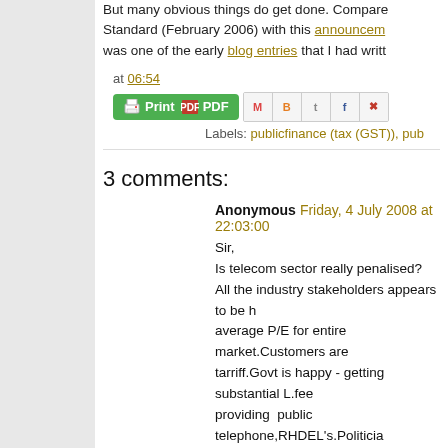But many obvious things do get done. Compare Standard (February 2006) with this announcem... was one of the early blog entries that I had writte...
at 06:54
Labels: publicfinance (tax (GST)), pub...
3 comments:
Anonymous  Friday, 4 July 2008 at 22:03:00
Sir,
Is telecom sector really penalised?
All the industry stakeholders appears to be h... average P/E for entire market.Customers are... tarriff.Govt is happy - getting substantial L.fee... providing public telephone,RHDEL's.Politicia... the pain,share the gain is the mantra.Wh...